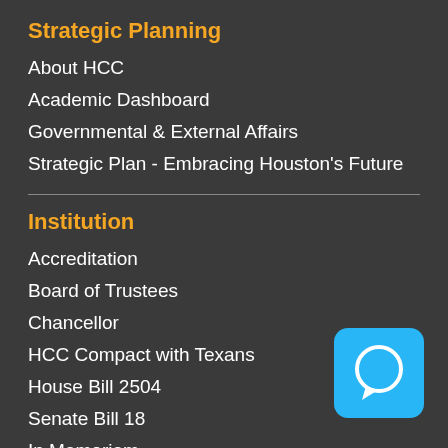Strategic Planning
About HCC
Academic Dashboard
Governmental & External Affairs
Strategic Plan - Embracing Houston's Future
Institution
Accreditation
Board of Trustees
Chancellor
HCC Compact with Texans
House Bill 2504
Senate Bill 18
In Memoriam
Police Department
Policies & Procedures
Privacy Policy
Public Reports
Transparency
[Figure (illustration): Light blue rounded square chat bubble icon in bottom right corner]